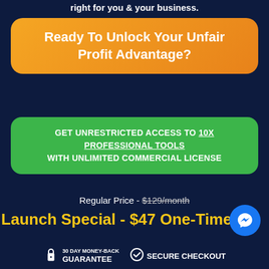right for you & your business.
Ready To Unlock Your Unfair Profit Advantage?
GET UNRESTRICTED ACCESS TO 10X PROFESSIONAL TOOLS WITH UNLIMITED COMMERCIAL LICENSE
Regular Price - $129/month
Launch Special - $47 One-Time
30 DAY MONEY-BACK GUARANTEE
SECURE CHECKOUT